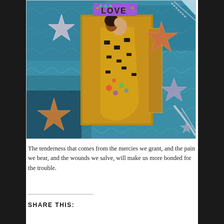[Figure (illustration): A colorful art collage featuring Klimt's 'The Kiss' painting in the center, surrounded by decorative stars in gold, copper, silver, and glitter on a teal/blue textured background. A purple label reading 'LOVE' with green dots is at the top center.]
The tenderness that comes from the mercies we grant, and the pain we bear, and the wounds we salve, will make us more bonded for the trouble.
SHARE THIS: